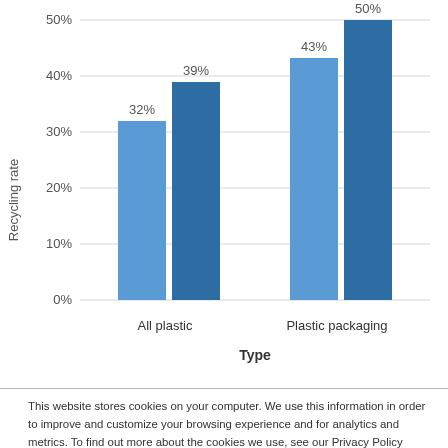[Figure (grouped-bar-chart): ]
This website stores cookies on your computer. We use this information in order to improve and customize your browsing experience and for analytics and metrics. To find out more about the cookies we use, see our Privacy Policy
If you decline, your information won't be tracked when you visit this website. A single cookie will be used in your browser to remember your preference not to be tracked.